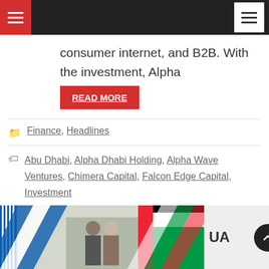Navigation header with hamburger menus
consumer internet, and B2B. With the investment, Alpha
READ MORE
Finance, Headlines
Abu Dhabi, Alpha Dhabi Holding, Alpha Wave Ventures, Chimera Capital, Falcon Edge Capital, Investment
[Figure (photo): Two men standing in front of Greek and UAE flags in an official ceremony setting]